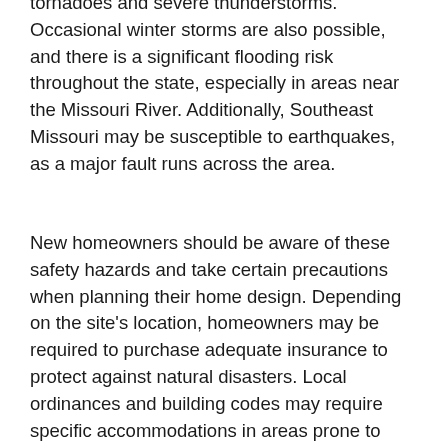tornadoes and severe thunderstorms. Occasional winter storms are also possible, and there is a significant flooding risk throughout the state, especially in areas near the Missouri River. Additionally, Southeast Missouri may be susceptible to earthquakes, as a major fault runs across the area.
New homeowners should be aware of these safety hazards and take certain precautions when planning their home design. Depending on the site's location, homeowners may be required to purchase adequate insurance to protect against natural disasters. Local ordinances and building codes may require specific accommodations in areas prone to flooding or severe storms.